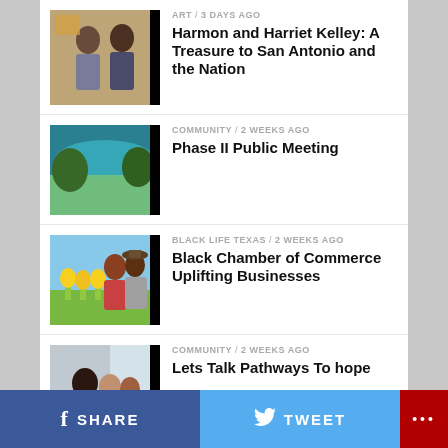ART / 3 days ago
Harmon and Harriet Kelley: A Treasure to San Antonio and the Nation
COMMUNITY / 2 weeks ago
Phase II Public Meeting
BLACK LIFE TEXAS / 2 weeks ago
Black Chamber of Commerce Uplifting Businesses
COMMUNITY / 2 weeks ago
Lets Talk Pathways To hope
SHARE   TWEET   ...